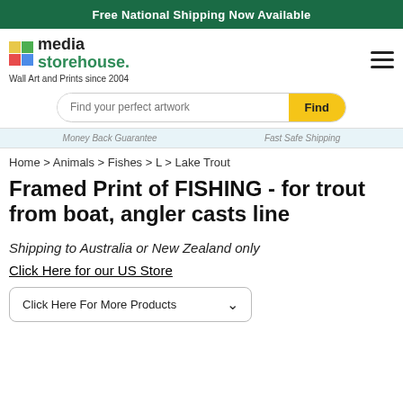Free National Shipping Now Available
[Figure (logo): Media Storehouse logo with colorful grid squares and text 'media storehouse.']
Wall Art and Prints since 2004
Find your perfect artwork | Find
Money Back Guarantee   Fast Safe Shipping
Home > Animals > Fishes > L > Lake Trout
Framed Print of FISHING - for trout from boat, angler casts line
Shipping to Australia or New Zealand only
Click Here for our US Store
Click Here For More Products